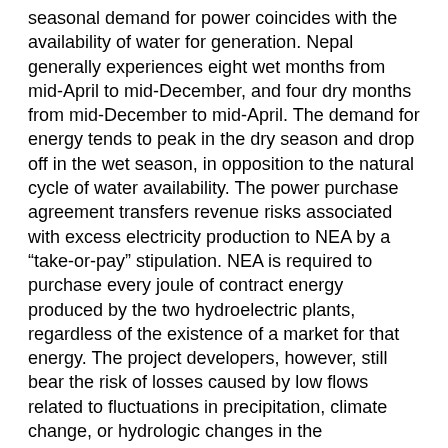seasonal demand for power coincides with the availability of water for generation. Nepal generally experiences eight wet months from mid-April to mid-December, and four dry months from mid-December to mid-April. The demand for energy tends to peak in the dry season and drop off in the wet season, in opposition to the natural cycle of water availability. The power purchase agreement transfers revenue risks associated with excess electricity production to NEA by a “take-or-pay” stipulation. NEA is required to purchase every joule of contract energy produced by the two hydroelectric plants, regardless of the existence of a market for that energy. The project developers, however, still bear the risk of losses caused by low flows related to fluctuations in precipitation, climate change, or hydrologic changes in the watersheds.
Allocating project risks
The construction of any hydroelectric projects entails various construction risks, including time and cost overrun risks, force majeure risk, socioeconomic and environmental risks, and geological risks. Also included in the general category of project risk are design risk and performance risk, which